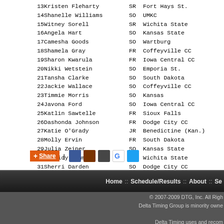| # | Name | Yr | School |
| --- | --- | --- | --- |
| 13 | Kristen Fleharty | SR | Fort Hays St. |
| 14 | Shanelle Williams | SO | UMKC |
| 15 | Witney Sorell | SR | Wichita State |
| 16 | Angela Hart | SO | Kansas State |
| 17 | Camesha Goods | SO | Wartburg |
| 18 | Shamela Gray | FR | Coffeyville CC |
| 19 | Sharon Kwarula | FR | Iowa Central CC |
| 20 | Nikki Wetstein | SO | Emporia St. |
| 21 | Tansha Clarke | SO | South Dakota |
| 22 | Jackie Wallace | SO | Coffeyville CC |
| 23 | Timmie Morris | SO | Kansas |
| 24 | Javona Ford | SO | Iowa Central CC |
| 25 | Katlin Sawtelle | FR | Sioux Falls |
| 26 | Dashonda Johnson | FR | Dodge City CC |
| 27 | Katie O'Grady | JR | Benedictine (Kan.) |
| 28 | Molly Ervin | FR | South Dakota |
| 29 | Julia Zeiner | SO | Kansas State |
| 30 | Cassidy Downing | FR | Wichita State |
| 31 | Sherri Darden | SO | Dodge City CC |
Home :: Schedule/Results :: About :: Se
© 2007-2009 DTG, Inc. All Rights Reserved. Delta Timing Group is minority owned. Delta Timing uses and recommends...